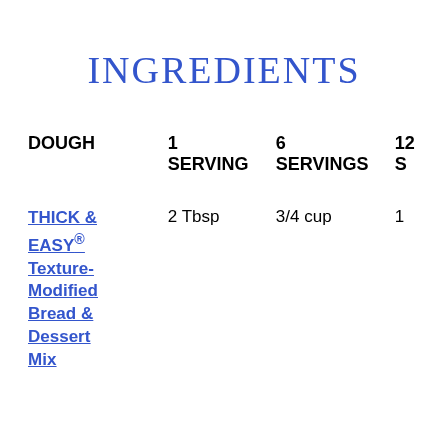INGREDIENTS
| DOUGH | 1 SERVING | 6 SERVINGS | 12 S... |
| --- | --- | --- | --- |
| THICK & EASY® Texture-Modified Bread & Dessert Mix | 2 Tbsp | 3/4 cup | 1 |